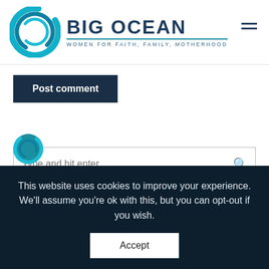[Figure (logo): Big Ocean Women logo: teal circular swirl graphic with 'BIG OCEAN' text in dark navy and tagline 'WOMEN FOR FAITH, FAMILY, MOTHERHOOD' below, plus hamburger menu icon on the right]
[Figure (other): Post comment button — dark navy rectangle with white bold text 'Post comment']
[Figure (other): Search box with placeholder text 'Type and hit enter ...' and a search icon on the right]
[Figure (other): Partial small teal circular logo visible at bottom-left]
This website uses cookies to improve your experience. We'll assume you're ok with this, but you can opt-out if you wish.
[Figure (other): Accept button — white rectangle with text 'Accept']